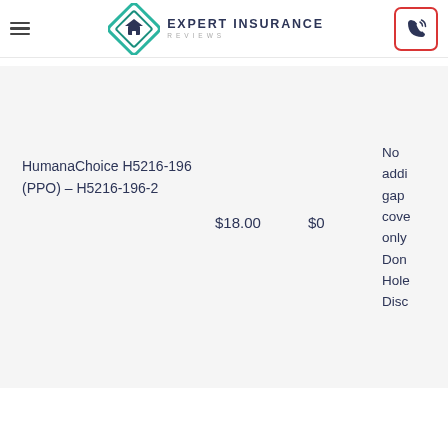Expert Insurance Reviews
| Plan | Premium | MOOP | Drug Coverage |
| --- | --- | --- | --- |
| HumanaChoice H5216-196 (PPO) – H5216-196-2 | $18.00 | $0 | No additional gap coverage, only Donut Hole Discount |